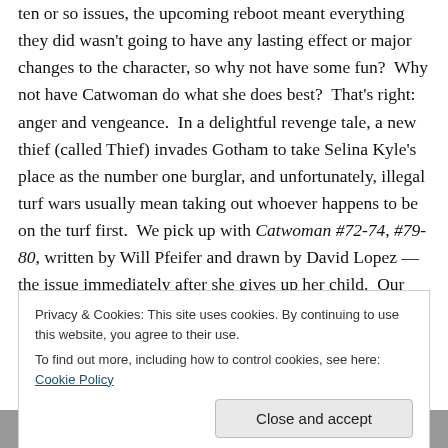ten or so issues, the upcoming reboot meant everything they did wasn't going to have any lasting effect or major changes to the character, so why not have some fun?  Why not have Catwoman do what she does best?  That's right: anger and vengeance.  In a delightful revenge tale, a new thief (called Thief) invades Gotham to take Selina Kyle's place as the number one burglar, and unfortunately, illegal turf wars usually mean taking out whoever happens to be on the turf first.  We pick up with Catwoman #72-74, #79-80, written by Will Pfeifer and drawn by David Lopez — the issue immediately after she gives up her child.  Our
Privacy & Cookies: This site uses cookies. By continuing to use this website, you agree to their use.
To find out more, including how to control cookies, see here: Cookie Policy
[Figure (illustration): Bottom strip showing a partial comic book illustration in black and white]